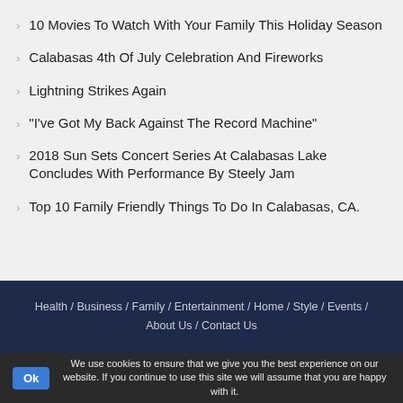10 Movies To Watch With Your Family This Holiday Season
Calabasas 4th Of July Celebration And Fireworks
Lightning Strikes Again
“I’ve Got My Back Against The Record Machine”
2018 Sun Sets Concert Series At Calabasas Lake Concludes With Performance By Steely Jam
Top 10 Family Friendly Things To Do In Calabasas, CA.
Health / Business / Family / Entertainment / Home / Style / Events / About Us / Contact Us
We use cookies to ensure that we give you the best experience on our website. If you continue to use this site we will assume that you are happy with it.